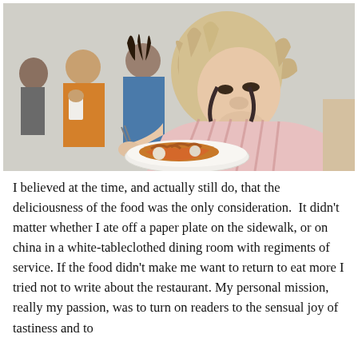[Figure (photo): A large man with long curly blond-gray hair wearing a pink striped shirt with dark suspenders eats from a white plate, leaning over his food. He is in a casual outdoor or semi-outdoor setting. In the background are other seated people including a woman in an orange shirt holding a white cup and a man in a blue shirt.]
I believed at the time, and actually still do, that the deliciousness of the food was the only consideration.  It didn't matter whether I ate off a paper plate on the sidewalk, or on china in a white-tableclothed dining room with regiments of service. If the food didn't make me want to return to eat more I tried not to write about the restaurant. My personal mission, really my passion, was to turn on readers to the sensual joy of tastiness and to